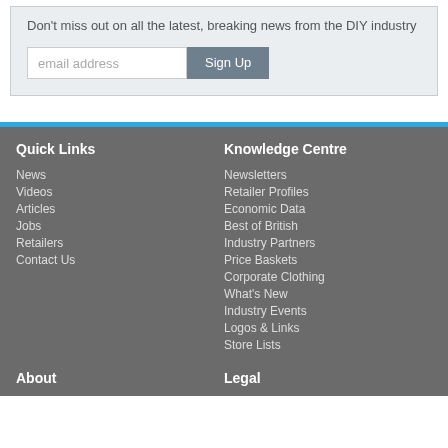Don't miss out on all the latest, breaking news from the DIY industry
Quick Links
News
Videos
Articles
Jobs
Retailers
Contact Us
Knowledge Centre
Newsletters
Retailer Profiles
Economic Data
Best of British
Industry Partners
Price Baskets
Corporate Clothing
What's New
Industry Events
Logos & Links
Store Lists
About
Legal